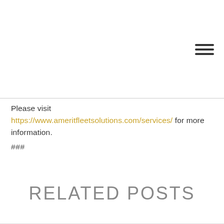[Figure (other): Hamburger menu icon with three horizontal lines in dark color, positioned top right]
Please visit https://www.ameritfleetsolutions.com/services/ for more information.
###
RELATED POSTS